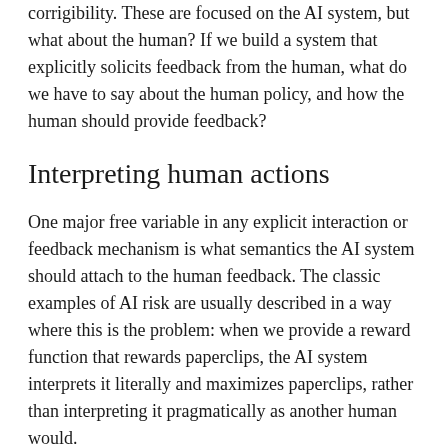corrigibility. These are focused on the AI system, but what about the human? If we build a system that explicitly solicits feedback from the human, what do we have to say about the human policy, and how the human should provide feedback?
Interpreting human actions
One major free variable in any explicit interaction or feedback mechanism is what semantics the AI system should attach to the human feedback. The classic examples of AI risk are usually described in a way where this is the problem: when we provide a reward function that rewards paperclips, the AI system interprets it literally and maximizes paperclips, rather than interpreting it pragmatically as another human would.
(Aside: I suspect this was not the original point of the paperclip maximizer, but it has become a very popular